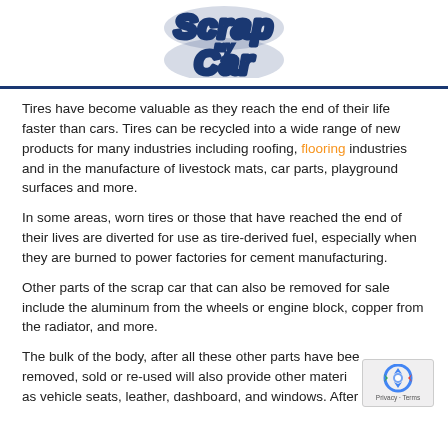Scrap my Car
Tires have become valuable as they reach the end of their life faster than cars. Tires can be recycled into a wide range of new products for many industries including roofing, flooring industries and in the manufacture of livestock mats, car parts, playground surfaces and more.
In some areas, worn tires or those that have reached the end of their lives are diverted for use as tire-derived fuel, especially when they are burned to power factories for cement manufacturing.
Other parts of the scrap car that can also be removed for sale include the aluminum from the wheels or engine block, copper from the radiator, and more.
The bulk of the body, after all these other parts have been removed, sold or re-used will also provide other materials such as vehicle seats, leather, dashboard, and windows. After removal,